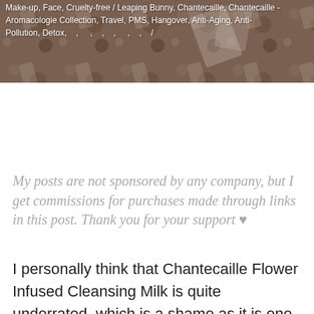[Figure (photo): Top banner image of beauty/cosmetic products on a textured surface with overlaid tag text listing product categories and brands]
Make-up, Face, Cruelty-free / Leaping Bunny, Chantecaille, Chantecaille - Aromacologie Collection, Travel, PMS, Hangover, Anti-Aging, Anti-Pollution, Detox,
My posts are not sponsored by any company, but I get commissions for purchases made through links in this post. Thank you for your support ♥
I personally think that Chantecaille Flower Infused Cleansing Milk is quite underrated, which is a shame as it is one of my favourite